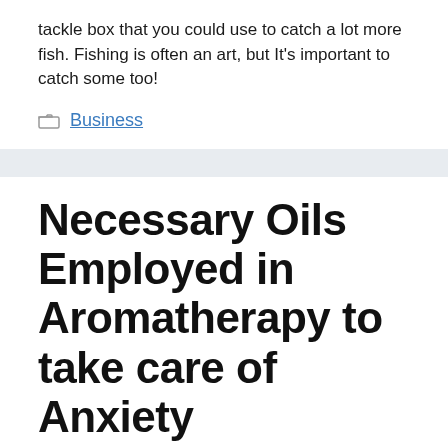tackle box that you could use to catch a lot more fish. Fishing is often an art, but It's important to catch some too!
Business
Necessary Oils Employed in Aromatherapy to take care of Anxiety
October 8, 2021 by admin